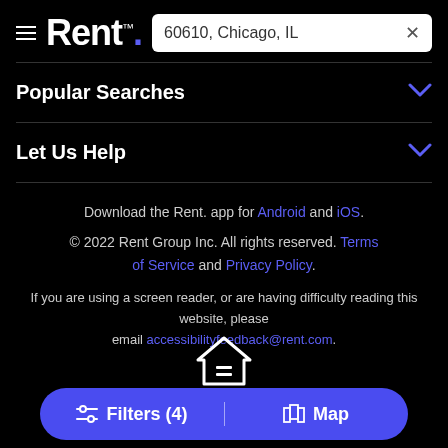[Figure (logo): Rent. logo with hamburger menu and search box showing '60610, Chicago, IL']
Popular Searches
Let Us Help
Download the Rent. app for Android and iOS.
© 2022 Rent Group Inc. All rights reserved. Terms of Service and Privacy Policy.
If you are using a screen reader, or are having difficulty reading this website, please email accessibilityfeedback@rent.com.
[Figure (illustration): Equal housing opportunity house icon above filter bar]
Filters (4) | Map